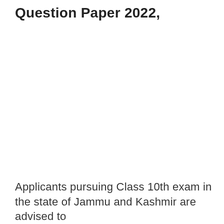Question Paper 2022,
Applicants pursuing Class 10th exam in the state of Jammu and Kashmir are advised to